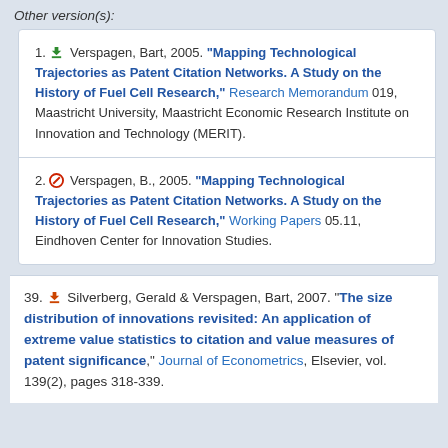Other version(s):
1. [download icon] Verspagen, Bart, 2005. "Mapping Technological Trajectories as Patent Citation Networks. A Study on the History of Fuel Cell Research," Research Memorandum 019, Maastricht University, Maastricht Economic Research Institute on Innovation and Technology (MERIT).
2. [restricted icon] Verspagen, B., 2005. "Mapping Technological Trajectories as Patent Citation Networks. A Study on the History of Fuel Cell Research," Working Papers 05.11, Eindhoven Center for Innovation Studies.
39. [download icon] Silverberg, Gerald & Verspagen, Bart, 2007. "The size distribution of innovations revisited: An application of extreme value statistics to citation and value measures of patent significance," Journal of Econometrics, Elsevier, vol. 139(2), pages 318-339.